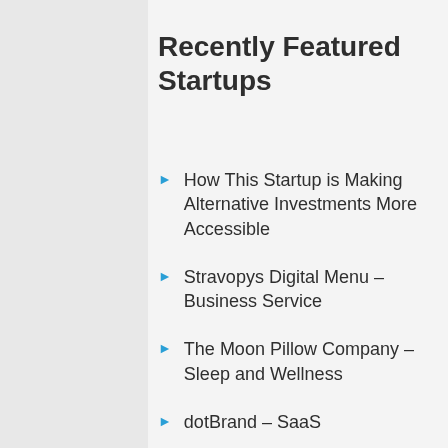Recently Featured Startups
How This Startup is Making Alternative Investments More Accessible
Stravopys Digital Menu – Business Service
The Moon Pillow Company – Sleep and Wellness
dotBrand – SaaS
The Cooler Keg – B2C